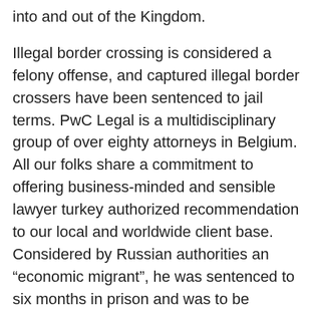into and out of the Kingdom.
Illegal border crossing is considered a felony offense, and captured illegal border crossers have been sentenced to jail terms. PwC Legal is a multidisciplinary group of over eighty attorneys in Belgium. All our folks share a commitment to offering business-minded and sensible lawyer turkey authorized recommendation to our local and worldwide client base. Considered by Russian authorities an “economic migrant”, he was sentenced to six months in prison and was to be deported to the country of his nationality after serving his sentence, although he could now danger a fair heavier penalty there. In the primary six months of 2005, more than a hundred and twenty,000 folks from Central America were deported, as in comparability with 2002, when for the entire 12 months, solely a hundred thirty,000 were deported.
In 2016 there were roughly 8,000 migrant deaths, with about 63% of deaths occurring inside the Mediterranean. For example, analysis at San Diego State University